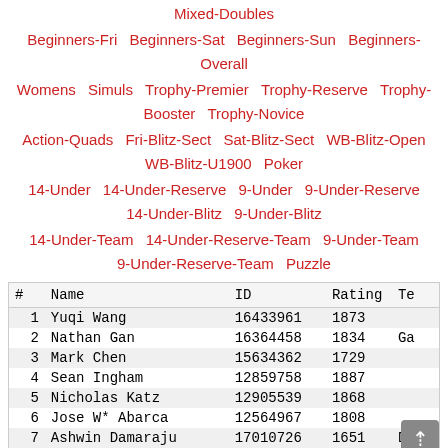Mixed-Doubles
Beginners-Fri   Beginners-Sat   Beginners-Sun   Beginners-Overall
Womens   Simuls   Trophy-Premier   Trophy-Reserve   Trophy-Booster   Trophy-Novice
Action-Quads   Fri-Blitz-Sect   Sat-Blitz-Sect   WB-Blitz-Open   WB-Blitz-U1900   Poker
14-Under   14-Under-Reserve   9-Under   9-Under-Reserve   14-Under-Blitz   9-Under-Blitz
14-Under-Team   14-Under-Reserve-Team   9-Under-Team   9-Under-Reserve-Team   Puzzle
| # | Name | ID | Rating | T |
| --- | --- | --- | --- | --- |
| 1 | Yuqi Wang | 16433961 | 1873 |  |
| 2 | Nathan Gan | 16364458 | 1834 | Ga |
| 3 | Mark Chen | 15634362 | 1729 |  |
| 4 | Sean Ingham | 12859758 | 1887 |  |
| 5 | Nicholas Katz | 12905539 | 1868 |  |
| 6 | Jose W* Abarca | 12564967 | 1808 |  |
| 7 | Ashwin Damaraju | 17010726 | 1651 | D/ |
| 8 | Sangeeta Dhingra | 14213981 | 1885 | Ch |
| 9 | Aurelius Mlynar | 15565016 | 1873 |  |